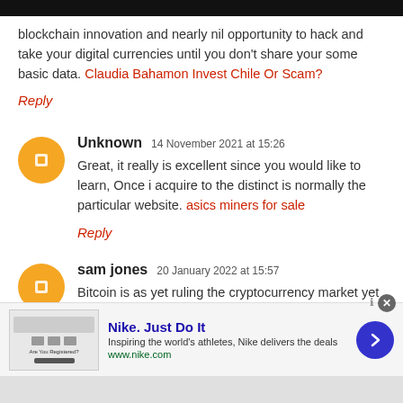blockchain innovation and nearly nil opportunity to hack and take your digital currencies until you don't share your some basic data. Claudia Bahamon Invest Chile Or Scam?
Reply
Unknown  14 November 2021 at 15:26
Great, it really is excellent since you would like to learn, Once i acquire to the distinct is normally the particular website. asics miners for sale
Reply
sam jones  20 January 2022 at 15:57
Bitcoin is as yet ruling the cryptocurrency market yet no
[Figure (infographic): Nike advertisement banner with thumbnail, Nike Just Do It text, description, www.nike.com URL, blue arrow button, and close X button]